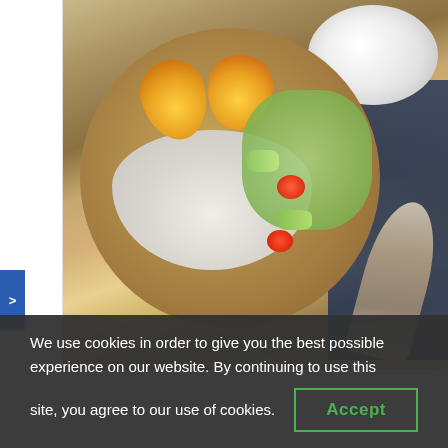[Figure (photo): Overhead photo of a wooden plate with rice, spiced eggs, and a fresh vegetable salad with tomatoes and cucumber. A white bowl of milk/cream is visible in the upper right corner, alongside a dark navy cloth napkin and a silver spoon.]
We use cookies in order to give you the best possible experience on our website. By continuing to use this site, you agree to our use of cookies.
Accept